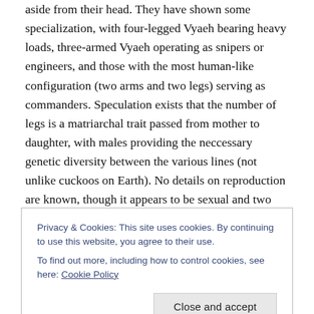aside from their head. They have shown some specialization, with four-legged Vyaeh bearing heavy loads, three-armed Vyaeh operating as snipers or engineers, and those with the most human-like configuration (two arms and two legs) serving as commanders. Speculation exists that the number of legs is a matriarchal trait passed from mother to daughter, with males providing the neccessary genetic diversity between the various lines (not unlike cuckoos on Earth). No details on reproduction are known, though it appears to be sexual and two sexes have been noted in communications.
Privacy & Cookies: This site uses cookies. By continuing to use this website, you agree to their use.
To find out more, including how to control cookies, see here: Cookie Policy